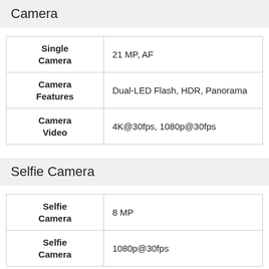Camera
| Feature | Value |
| --- | --- |
| Single Camera | 21 MP, AF |
| Camera Features | Dual-LED Flash, HDR, Panorama |
| Camera Video | 4K@30fps, 1080p@30fps |
Selfie Camera
| Feature | Value |
| --- | --- |
| Selfie Camera | 8 MP |
| Selfie Camera | 1080p@30fps |